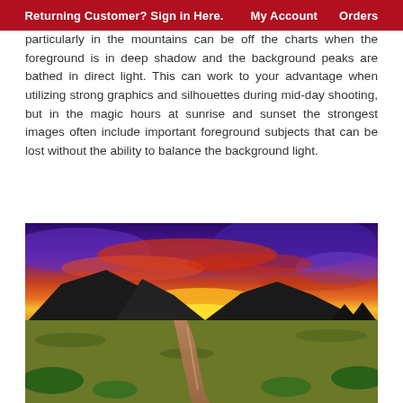Returning Customer? Sign in Here.    My Account    Orders
particularly in the mountains can be off the charts when the foreground is in deep shadow and the background peaks are bathed in direct light. This can work to your advantage when utilizing strong graphics and silhouettes during mid-day shooting, but in the magic hours at sunrise and sunset the strongest images often include important foreground subjects that can be lost without the ability to balance the background light.
[Figure (photo): Dramatic sunset landscape photograph with vivid purple and red sky with orange clouds over a mountain silhouette, with a winding stream through a green meadow in the foreground.]